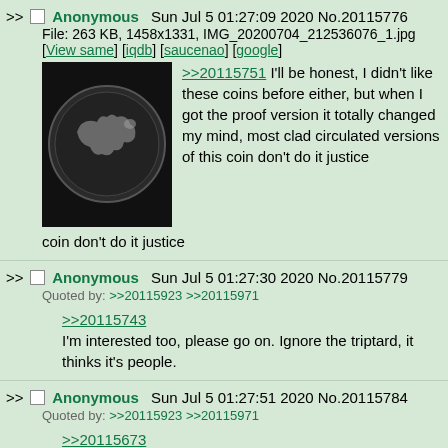>> Anonymous Sun Jul 5 01:27:09 2020 No.20115776 File: 263 KB, 1458x1331, IMG_20200704_212536076_1.jpg [View same] [iqdb] [saucenao] [google] >>20115751 I'll be honest, I didn't like these coins before either, but when I got the proof version it totally changed my mind, most clad circulated versions of this coin don't do it justice
[Figure (photo): A silver proof coin photographed against a dark background, showing an animal figure (appears to be a bison or buffalo) on its face.]
>> Anonymous Sun Jul 5 01:27:30 2020 No.20115779 Quoted by: >>20115923 >>20115971 >>20115743 I'm interested too, please go on. Ignore the triptard, it thinks it's people.
>> Anonymous Sun Jul 5 01:27:51 2020 No.20115784 Quoted by: >>20115923 >>20115971 >>20115673